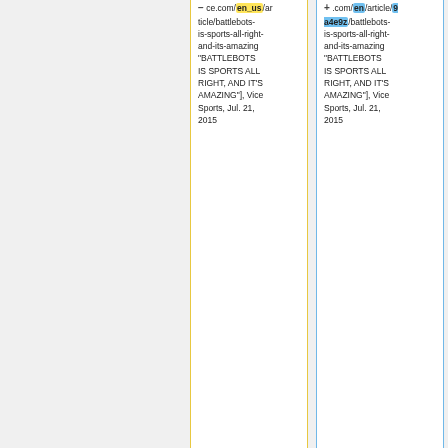ce.com/en_us/article/battlebots-is-sports-all-right-and-its-amazing "BATTLEBOTS IS SPORTS ALL RIGHT, AND IT'S AMAZING"], Vice Sports, Jul. 21, 2015
.com/en/article/9a4e9z/battlebots-is-sports-all-right-and-its-amazing "BATTLEBOTS IS SPORTS ALL RIGHT, AND IT'S AMAZING"], Vice Sports, Jul. 21, 2015
* [https://www.cnet.com/news/lockheed-offers-250k-prize-for-first-ai-drone-to-beat-human-pilot/ "Lockheed Martin offers $250K prize for first AI drone to beat human pilot"], CNET
* [https://www.cnet.com/news/lockheed-offers-250k-prize-for-first-ai-drone-to-beat-human-pilot/ "Lockheed Martin offers $250K prize for first AI drone to beat human pilot"], CNET